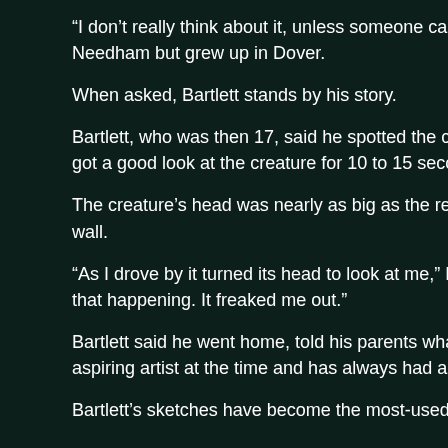“I don’t really think about it, unless someone calls me to ask a... Needham but grew up in Dover.
When asked, Bartlett stands by his story.
Bartlett, who was then 17, said he spotted the creature while d... got a good look at the creature for 10 to 15 seconds, he said, a...
The creature’s head was nearly as big as the rest of its body, a... wall.
“As I drove by it turned its head to look at me,” Bartlett said in... that happening. It freaked me out.”
Bartlett said he went home, told his parents what happened , a... aspiring artist at the time and has always had a good visual me...
Bartlett’s sketches have become the most-used representation...